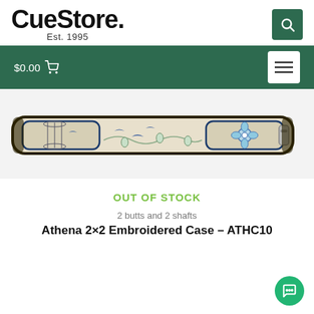CueStore. Est. 1995
$0.00 (cart)
[Figure (photo): A long cylindrical billiard/pool cue case with a cream/beige background decorated with blue birds, flowers, and birdcage embroidered pattern. The case has dark trim and two exterior pockets visible. It runs horizontally across most of the image width.]
OUT OF STOCK
2 butts and 2 shafts
Athena 2×2 Embroidered Case – ATHC10